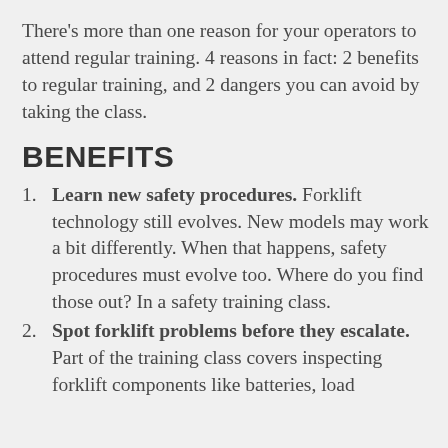There's more than one reason for your operators to attend regular training. 4 reasons in fact: 2 benefits to regular training, and 2 dangers you can avoid by taking the class.
BENEFITS
Learn new safety procedures. Forklift technology still evolves. New models may work a bit differently. When that happens, safety procedures must evolve too. Where do you find those out? In a safety training class.
Spot forklift problems before they escalate. Part of the training class covers inspecting forklift components like batteries, load